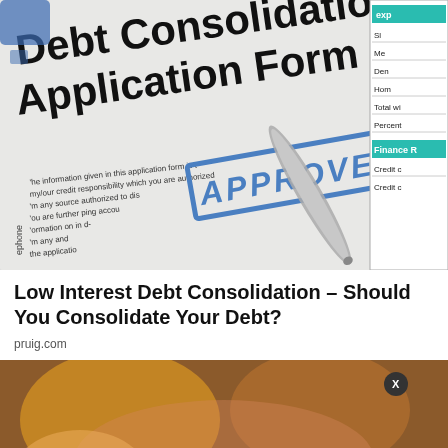[Figure (photo): Debt Consolidation Loan Application Form with APPROVED stamp and a pen, with a side panel showing financial form fields]
Low Interest Debt Consolidation – Should You Consolidate Your Debt?
pruig.com
[Figure (screenshot): News article thumbnail showing people with a push notification overlay reading: AfCFTA: Ghana leads seven other African nations, 10 hours ago, with a blue notification bell showing badge count 3 and an X close button]